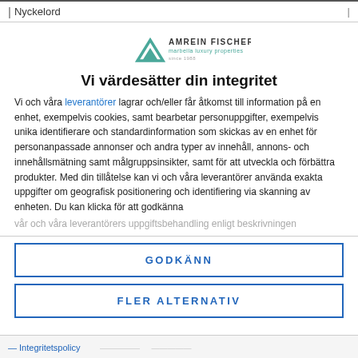Nyckelord
[Figure (logo): Amrein Fischer Marbella luxury properties logo with teal triangle/mountain icon and company name]
Vi värdesätter din integritet
Vi och våra leverantörer lagrar och/eller får åtkomst till information på en enhet, exempelvis cookies, samt bearbetar personuppgifter, exempelvis unika identifierare och standardinformation som skickas av en enhet för personanpassade annonser och andra typer av innehåll, annons- och innehållsmätning samt målgruppsinsikter, samt för att utveckla och förbättra produkter. Med din tillåtelse kan vi och våra leverantörer använda exakta uppgifter om geografisk positionering och identifiering via skanning av enheten. Du kan klicka för att godkänna
vår och våra leverantörers uppgiftsbehandling enligt beskrivningen
GODKÄNN
FLER ALTERNATIV
Integritetspolicy